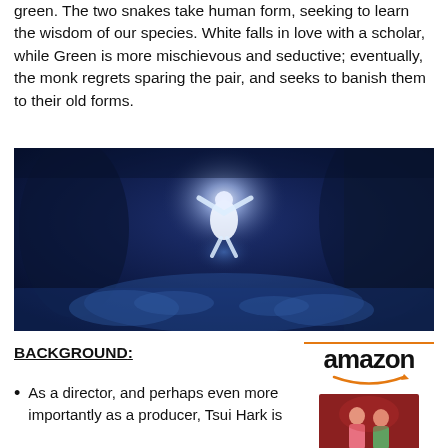green. The two snakes take human form, seeking to learn the wisdom of our species. White falls in love with a scholar, while Green is more mischievous and seductive; eventually, the monk regrets sparing the pair, and seeks to banish them to their old forms.
[Figure (photo): A dark blue-toned cinematic still showing a glowing white figure levitating with arms outstretched in a cave or dungeon setting, with shadowy snake-like figures gathered below.]
BACKGROUND:
[Figure (logo): Amazon logo with orange swoosh underline, and a small movie cover image below showing two figures in a colorful setting.]
As a director, and perhaps even more importantly as a producer, Tsui Hark is